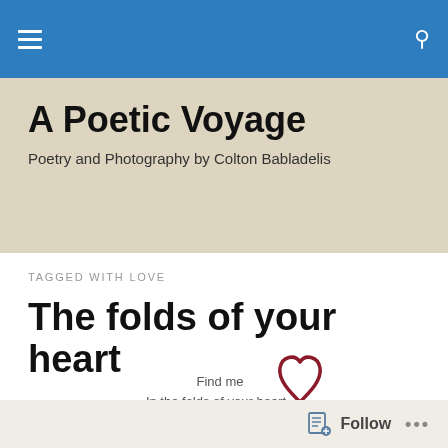A Poetic Voyage — Poetry and Photography by Colton Babladelis
A Poetic Voyage
Poetry and Photography by Colton Babladelis
TAGGED WITH LOVE
The folds of your heart
[Figure (illustration): A dark red hand-drawn heart outline with a tail, next to the text 'Find me / In the folds of your heart']
Follow ...